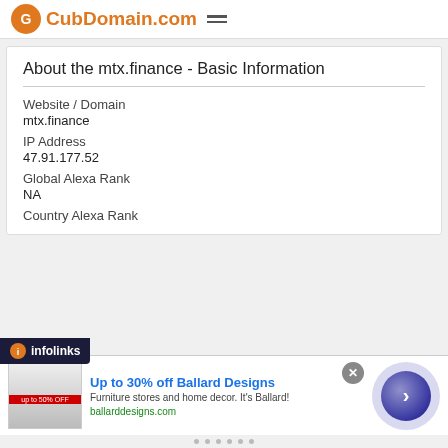CubDomain.com
About the mtx.finance - Basic Information
Website / Domain
mtx.finance
IP Address
47.91.177.52
Global Alexa Rank
NA
Country Alexa Rank
[Figure (screenshot): Infolinks ad bar and Ballard Designs advertisement banner showing 'Up to 30% off Ballard Designs' with furniture store imagery]